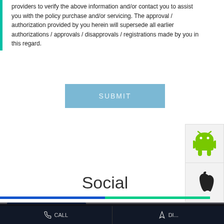providers to verify the above information and/or contact you to assist you with the policy purchase and/or servicing. The approval / authorization provided by you herein will supersede all earlier authorizations / approvals / disapprovals / registrations made by you in this regard.
SUBMIT
[Figure (logo): Android robot logo icon (green)]
[Figure (logo): Apple logo icon (black)]
Social
< Back to Social
Cookie Information
We use cookies to provide you with a great user experience. By using the website, you accept our use of cookies. Aspirants with 1+ years of experience can share their CV with atanu.mandal@pnbmetlife.com. #PNBMetLife #
I ACCEPT
CALL
DI...